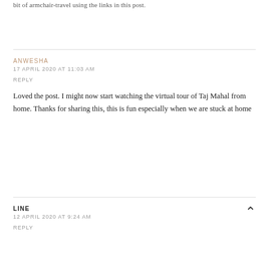bit of armchair-travel using the links in this post.
ANWESHA
17 APRIL 2020 AT 11:03 AM
REPLY
Loved the post. I might now start watching the virtual tour of Taj Mahal from home. Thanks for sharing this, this is fun especially when we are stuck at home
LINE
12 APRIL 2020 AT 9:24 AM
REPLY